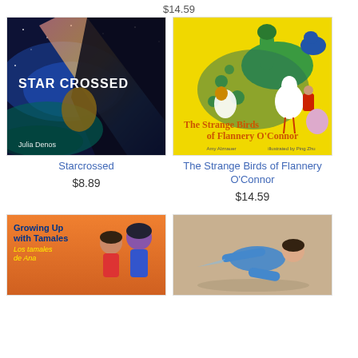$14.59
[Figure (photo): Book cover: Star Crossed by Julia Denos — dark space/fantasy illustration with galaxy and figures]
Starcrossed
$8.89
[Figure (photo): Book cover: The Strange Birds of Flannery O'Connor — colorful illustrated birds on yellow background by Amy Alznauer, illustrated by Ping Zhu]
The Strange Birds of Flannery O'Connor
$14.59
[Figure (photo): Book cover: Growing Up with Tamales / Los tamales de Ana — illustrated cover with two girls]
[Figure (photo): Book cover: child in blue flying/floating illustration on tan background]